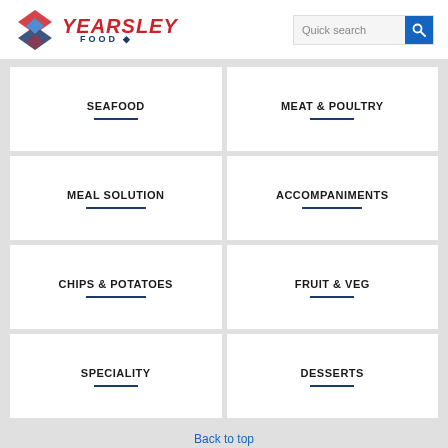[Figure (logo): Yearsley Food logo with red italic YEARSLEY text, blue FOOD text, and a diamond kite graphic in red and blue]
Quick search
SEAFOOD
MEAT & POULTRY
MEAL SOLUTION
ACCOMPANIMENTS
CHIPS & POTATOES
FRUIT & VEG
SPECIALITY
DESSERTS
Back to top
24 x 120g
24 x 115g
We have updated our privacy policy - please read the full policy or simply accept these changes.
Tulip Style Salted
Caramel Muffin